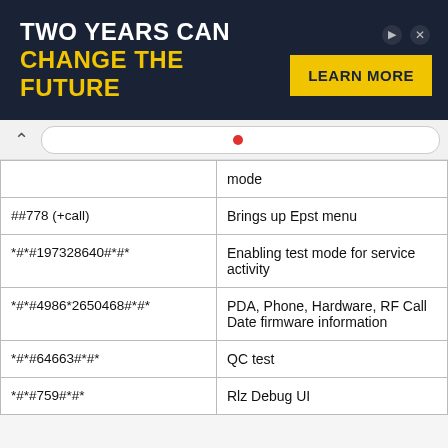[Figure (screenshot): Advertisement banner: 'TWO YEARS CAN CHANGE THE FUTURE' with LEARN MORE button in yellow on dark navy background]
[Figure (screenshot): Browser navigation bar with back arrow and URL bar showing a red icon]
| Code | Description |
| --- | --- |
|  | mode |
| ##778 (+call) | Brings up Epst menu |
| *#*#197328640#*#* | Enabling test mode for service activity |
| *#*#4986*2650468#*#* | PDA, Phone, Hardware, RF Call Date firmware information |
| *#*#64663#*#* | QC test |
| *#*#759#*#* | Rlz Debug UI |